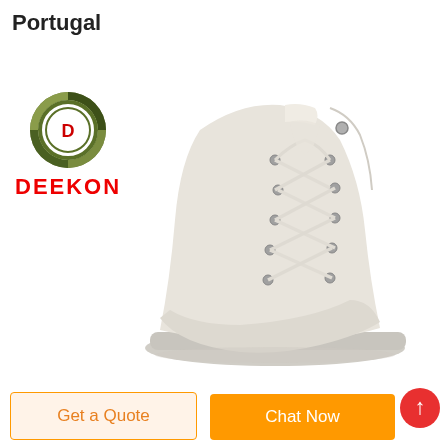Portugal
[Figure (logo): Deekon brand logo: circular camouflage pattern logo with letter D in center, and DEEKON text below in red bold letters]
[Figure (photo): High-top cream/beige canvas lace-up sneaker boot, shown at an angle, with silver eyelets and thick rubber sole]
Get a Quote
Chat Now